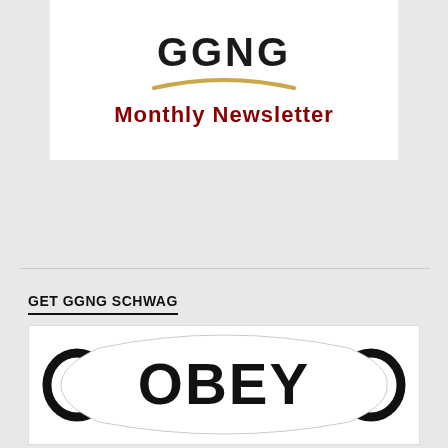[Figure (logo): GGNG logo with bold black text 'GGNG', a gold arc/swoosh underneath, and below it 'Monthly Newsletter' in bold dark red text on white background]
GET GGNG SCHWAG
[Figure (photo): A white face mask with black elastic ear loops on each side, printed with the bold black text 'OBEY' in large uppercase letters on the front]